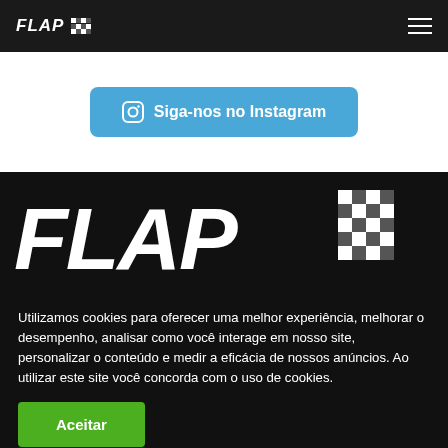FLAP [logo] ≡
Siga-nos no Instagram
[Figure (logo): FLAP checkered flag logo in large white italic bold text on black background]
Utilizamos cookies para oferecer uma melhor experiência, melhorar o desempenho, analisar como você interage em nosso site, personalizar o conteúdo e medir a eficácia de nossos anúncios. Ao utilizar este site você concorda com o uso de cookies.
Aceitar